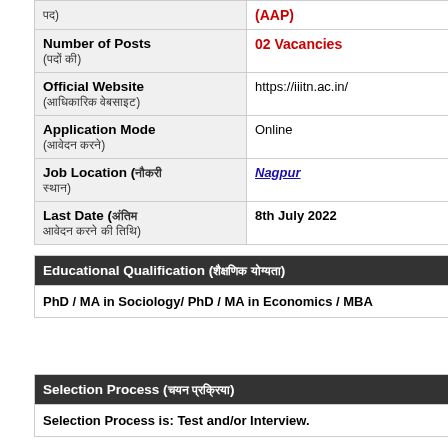| पद) | (AAP) |
| Number of Posts (पदों की) | 02 Vacancies |
| Official Website (आधिकारिक वेबसाइट) | https://iiitn.ac.in/ |
| Application Mode (आवेदन करने) | Online |
| Job Location (नौकरी स्थान) | Nagpur |
| Last Date (अंतिम आवेदन करने की तिथि) | 8th July 2022 |
| Educational Qualification (शैक्षणिक योग्यता) |
| --- |
| PhD / MA in Sociology/ PhD / MA in Economics / MBA |
| Selection Process (चयन प्रक्रिया) |
| --- |
| Selection Process is: Test and/or Interview. |